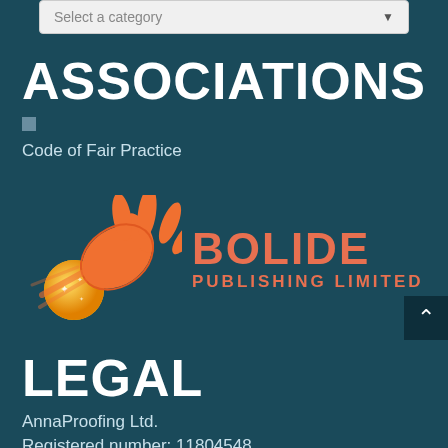Select a category
ASSOCIATIONS
[Figure (logo): Bolide Publishing Limited logo: meteor/comet hand icon in orange and yellow with stars, next to text BOLIDE PUBLISHING LIMITED in salmon/coral color]
Code of Fair Practice
LEGAL
AnnaProofing Ltd.
Registered number: 11804548